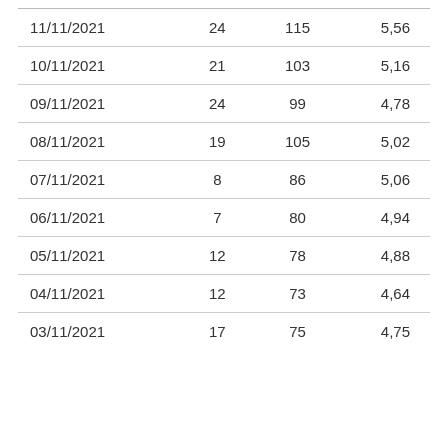| 11/11/2021 | 24 | 115 | 5,56 |
| 10/11/2021 | 21 | 103 | 5,16 |
| 09/11/2021 | 24 | 99 | 4,78 |
| 08/11/2021 | 19 | 105 | 5,02 |
| 07/11/2021 | 8 | 86 | 5,06 |
| 06/11/2021 | 7 | 80 | 4,94 |
| 05/11/2021 | 12 | 78 | 4,88 |
| 04/11/2021 | 12 | 73 | 4,64 |
| 03/11/2021 | 17 | 75 | 4,75 |